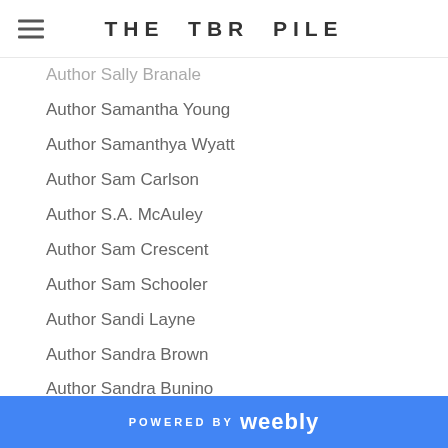THE TBR PILE
Author Sally Branale
Author Samantha Young
Author Samanthya Wyatt
Author Sam Carlson
Author S.A. McAuley
Author Sam Crescent
Author Sam Schooler
Author Sandi Layne
Author Sandra Brown
Author Sandra Bunino
Author Sandra Carmel
Author Sandra Renee Appet
Author Sandy James
Author Santino Hassell
Author Sara Brookes
Author Sarah J. Maas
Author Sarah Leyton
Author Sarah Marsh
POWERED BY weebly